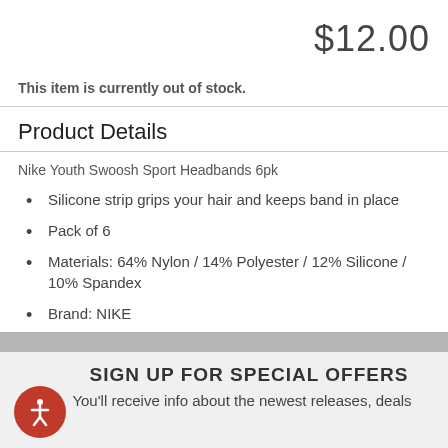$12.00
This item is currently out of stock.
Product Details
Nike Youth Swoosh Sport Headbands 6pk
Silicone strip grips your hair and keeps band in place
Pack of 6
Materials: 64% Nylon / 14% Polyester / 12% Silicone / 10% Spandex
Brand: NIKE
Vendor Park: N.100.3042
SIGN UP FOR SPECIAL OFFERS
You'll receive info about the newest releases, deals